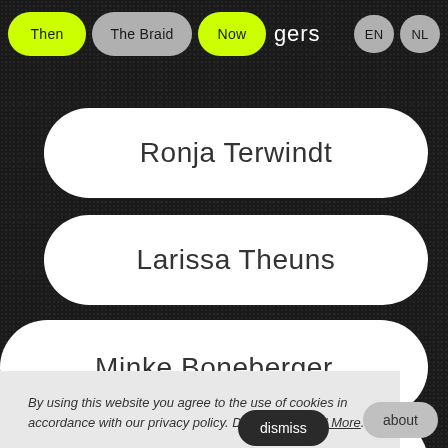Then  The Braid  Now  gers  EN  NL
Ronja Terwindt
Larissa Theuns
Minke Boneberger
Cassidy N...ar
dismiss
By using this website you agree to the use of cookies in accordance with our privacy policy. Dismiss or Read More.
about